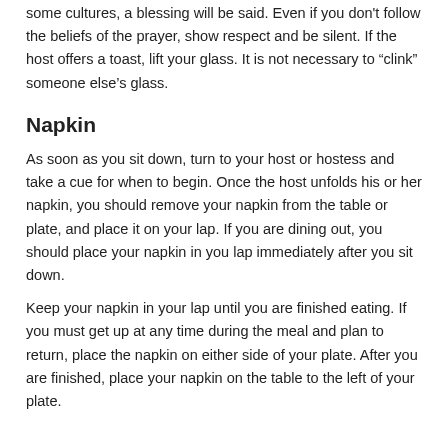some cultures, a blessing will be said. Even if you don't follow the beliefs of the prayer, show respect and be silent. If the host offers a toast, lift your glass. It is not necessary to “clink” someone else’s glass.
Napkin
As soon as you sit down, turn to your host or hostess and take a cue for when to begin. Once the host unfolds his or her napkin, you should remove your napkin from the table or plate, and place it on your lap. If you are dining out, you should place your napkin in you lap immediately after you sit down.
Keep your napkin in your lap until you are finished eating. If you must get up at any time during the meal and plan to return, place the napkin on either side of your plate. After you are finished, place your napkin on the table to the left of your plate.